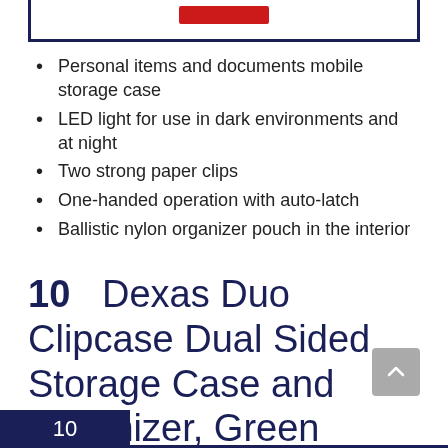[Figure (other): Top border box with red button element, partial view of previous section]
Personal items and documents mobile storage case
LED light for use in dark environments and at night
Two strong paper clips
One-handed operation with auto-latch
Ballistic nylon organizer pouch in the interior
10   Dexas Duo Clipcase Dual Sided Storage Case and Organizer, Green
10